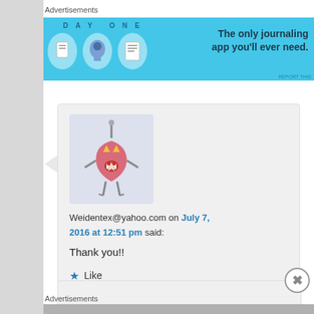Advertisements
[Figure (illustration): Day One journaling app advertisement banner with blue background, app icons, and text 'DAY ONE - The only journaling app you'll ever need.']
[Figure (illustration): Avatar image of a pink monster robot character on light purple background]
Weidentex@yahoo.com on July 7, 2016 at 12:51 pm said:
Thank you!!
Like
Reply ↓
Advertisements